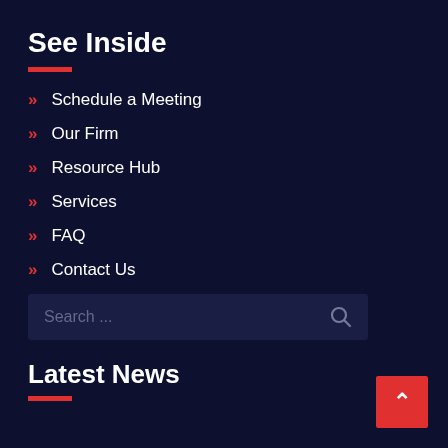See Inside
Schedule a Meeting
Our Firm
Resource Hub
Services
FAQ
Contact Us
Search ...
Latest News